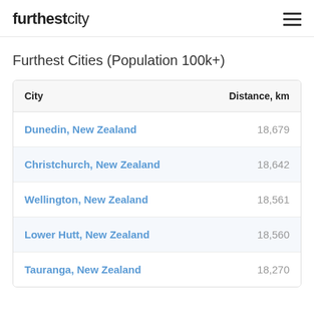furthestcity
Furthest Cities (Population 100k+)
| City | Distance, km |
| --- | --- |
| Dunedin, New Zealand | 18,679 |
| Christchurch, New Zealand | 18,642 |
| Wellington, New Zealand | 18,561 |
| Lower Hutt, New Zealand | 18,560 |
| Tauranga, New Zealand | 18,270 |